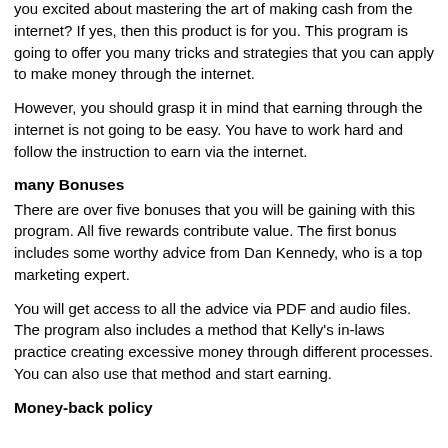you excited about mastering the art of making cash from the internet? If yes, then this product is for you. This program is going to offer you many tricks and strategies that you can apply to make money through the internet.
However, you should grasp it in mind that earning through the internet is not going to be easy. You have to work hard and follow the instruction to earn via the internet.
many Bonuses
There are over five bonuses that you will be gaining with this program. All five rewards contribute value. The first bonus includes some worthy advice from Dan Kennedy, who is a top marketing expert.
You will get access to all the advice via PDF and audio files. The program also includes a method that Kelly's in-laws practice creating excessive money through different processes. You can also use that method and start earning.
Money-back policy